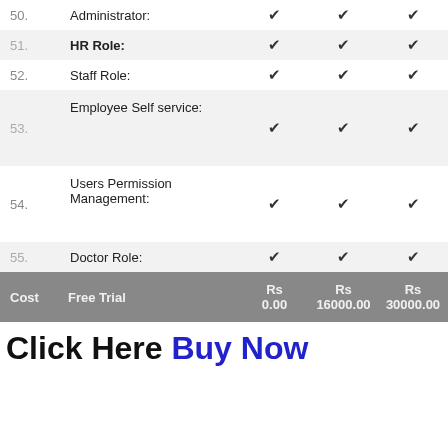|  |  | Rs 0.00 | Rs 16000.00 | Rs 30000.00 |
| --- | --- | --- | --- | --- |
| 50. | Administrator: | ✔ | ✔ | ✔ |
| 51. | HR Role: | ✔ | ✔ | ✔ |
| 52. | Staff Role: | ✔ | ✔ | ✔ |
| 53. | Employee Self service: | ✔ | ✔ | ✔ |
| 54. | Users Permission Management: | ✔ | ✔ | ✔ |
| 55. | Doctor Role: | ✔ | ✔ | ✔ |
| Cost | Free Trial | Rs 0.00 | Rs 16000.00 | Rs 30000.00 |
Click Here Buy Now